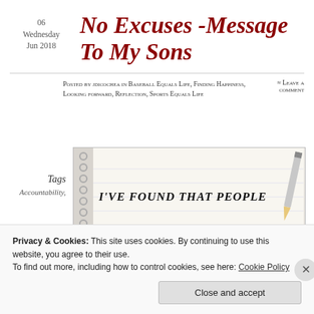06 Wednesday Jun 2018
No Excuses -Message To My Sons
Posted by jdicochea in Baseball Equals Life, Finding Happiness, Looking forward, Reflection, Sports Equals Life
≈ Leave a comment
Tags
Accountability,
[Figure (photo): Notebook with handwritten text 'I've found that people' with a pencil]
Privacy & Cookies: This site uses cookies. By continuing to use this website, you agree to their use. To find out more, including how to control cookies, see here: Cookie Policy
Close and accept